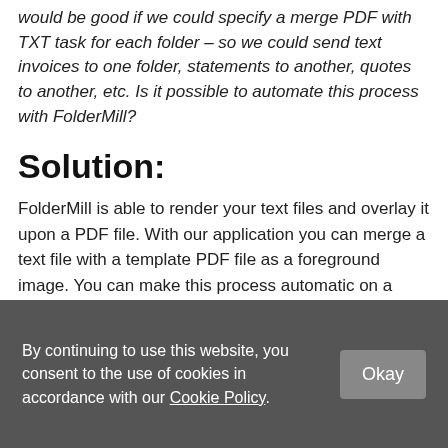would be good if we could specify a merge PDF with TXT task for each folder – so we could send text invoices to one folder, statements to another, quotes to another, etc. Is it possible to automate this process with FolderMill?
Solution:
FolderMill is able to render your text files and overlay it upon a PDF file. With our application you can merge a text file with a template PDF file as a foreground image. You can make this process automatic on a regular basis.
By continuing to use this website, you consent to the use of cookies in accordance with our Cookie Policy.